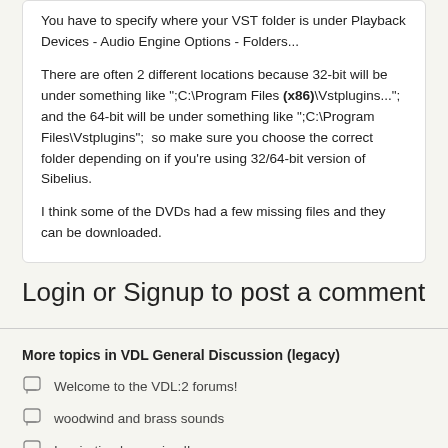You have to specify where your VST folder is under Playback Devices - Audio Engine Options - Folders...
There are often 2 different locations because 32-bit will be under something like ";C:\Program Files [b](x86)[/b]\Vstplugins..."; and the 64-bit will be under something like ";C:\Program Files\Vstplugins";  so make sure you choose the correct folder depending on if you're using 32/64-bit version of Sibelius.
I think some of the DVDs had a few missing files and they can be downloaded.
Login or Signup to post a comment
More topics in VDL General Discussion (legacy)
Welcome to the VDL:2 forums!
woodwind and brass sounds
Inspiration has arrived!
Pre-orders have begun shipping!